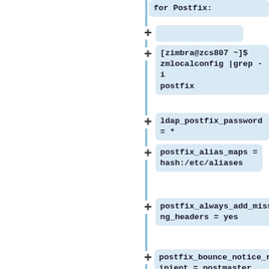for Postfix:
+
[zimbra@zcs807 ~]$ zmlocalconfig |grep -i postfix
+ ldap_postfix_password = *
postfix_alias_maps = hash:/etc/aliases
+postfix_always_add_missing_headers = yes
+postfix_bounce_notice_recipient = postmaster